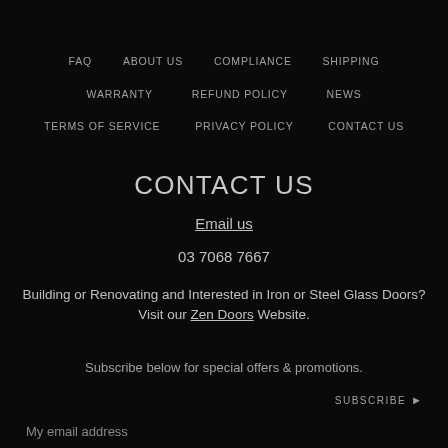FAQ   ABOUT US   COMPLIANCE   SHIPPING
WARRANTY   REFUND POLICY   NEWS
TERMS OF SERVICE   PRIVACY POLICY   CONTACT US
CONTACT US
Email us
03 7068 7667
Building or Renovating and Interested in Iron or Steel Glass Doors? Visit our Zen Doors Website.
Subscribe below for special offers & promotions.
SUBSCRIBE ▶
My email address